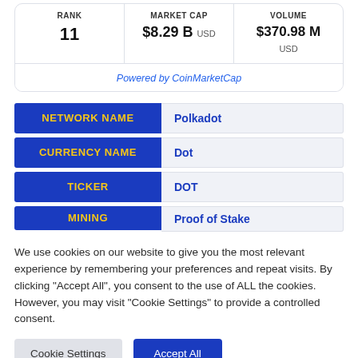| RANK | MARKET CAP | VOLUME |
| --- | --- | --- |
| 11 | $8.29 B USD | $370.98 M USD |
Powered by CoinMarketCap
| Label | Value |
| --- | --- |
| NETWORK NAME | Polkadot |
| CURRENCY NAME | Dot |
| TICKER | DOT |
| MINING | Proof of Stake |
We use cookies on our website to give you the most relevant experience by remembering your preferences and repeat visits. By clicking "Accept All", you consent to the use of ALL the cookies. However, you may visit "Cookie Settings" to provide a controlled consent.